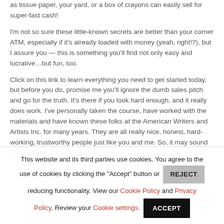as tissue paper, your yard, or a box of crayons can easily sell for super-fast cash!
I'm not so sure these little-known secrets are better than your corner ATM, especially if it's already loaded with money (yeah, right!?), but I assure you — this is something you'll find not only easy and lucrative…but fun, too.
Click on this link to learn everything you need to get started today, but before you do, promise me you'll ignore the dumb sales pitch and go for the truth. It's there if you look hard enough, and it really does work. I've personally taken the course, have worked with the materials and have known these folks at the American Writers and Artists Inc. for many years. They are all really nice, honest, hard-working, trustworthy people just like you and me. So, it may sound like a lot of bull, but it's not. It's true.
This website and its third parties use cookies. You agree to the use of cookies by clicking the "Accept" button or REJECT reducing functionality. View our Cookie Policy and Privacy Policy. Review your Cookie settings. ACCEPT